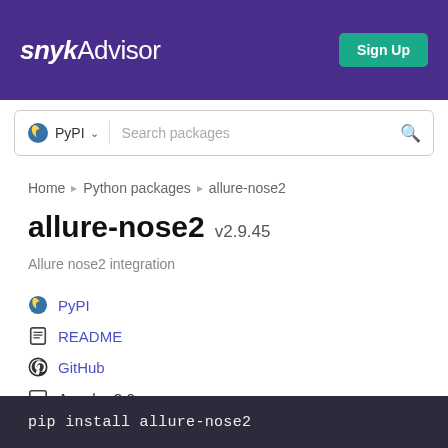snyk Advisor  Sign Up
PyPI  Search packages
Home > Python packages > allure-nose2
allure-nose2 v2.9.45
Allure nose2 integration
PyPI
README
GitHub
Apache-2.0
Latest version published 10 months ago
pip install allure-nose2